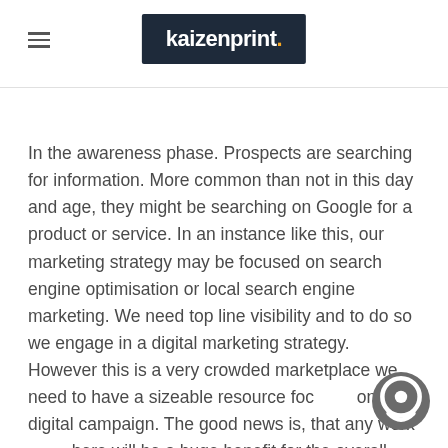kaizenprint.
In the awareness phase. Prospects are searching for information. More common than not in this day and age, they might be searching on Google for a product or service. In an instance like this, our marketing strategy may be focused on search engine optimisation or local search engine marketing. We need top line visibility and to do so we engage in a digital marketing strategy. However this is a very crowded marketplace we need to have a sizeable resource focused on a digital campaign. The good news is, that any work done here will be a huge benefit for the overall company.